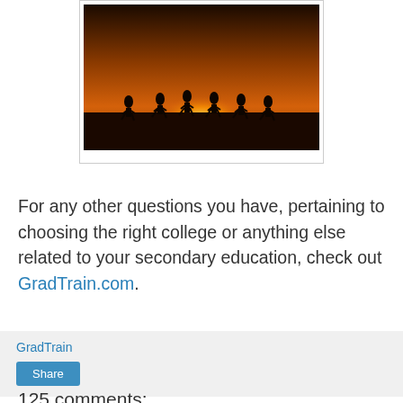[Figure (photo): Silhouette of children running on a beach at sunset]
For any other questions you have, pertaining to choosing the right college or anything else related to your secondary education, check out GradTrain.com.
GradTrain
Share
125 comments:
Selviana Watson June 25, 2019 at 10:41 AM
This comment has been removed by the author.
Reply